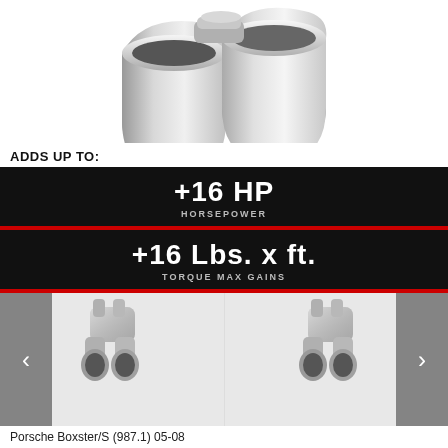[Figure (photo): Close-up photo of dual polished stainless steel exhaust tips]
ADDS UP TO:
+16 HP HORSEPOWER
+16 Lbs. x ft. TORQUE MAX GAINS
[Figure (photo): Gallery of exhaust tip product images with left and right navigation arrows showing Porsche Boxster/S (987.1) 05-08 fitment]
Porsche Boxster/S (987.1) 05-08